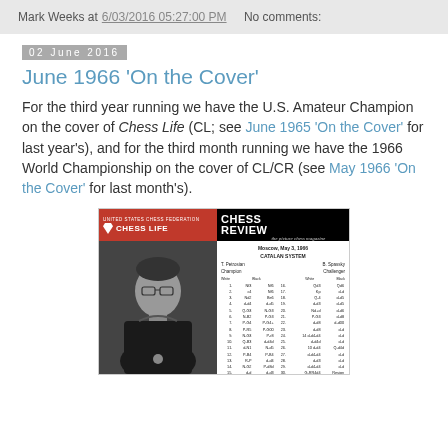Mark Weeks at 6/03/2016 05:27:00 PM    No comments:
02 June 2016
June 1966 'On the Cover'
For the third year running we have the U.S. Amateur Champion on the cover of Chess Life (CL; see June 1965 'On the Cover' for last year's), and for the third month running we have the 1966 World Championship on the cover of CL/CR (see May 1966 'On the Cover' for last month's).
[Figure (photo): Scanned image of the June 1966 issue covers of Chess Life and Chess Review magazines side by side. Left: Chess Life with red masthead showing USCF shield logo, black and white photo of a young man in Navy uniform with glasses. Right: Chess Review with black masthead titled 'the picture chess magazine', and a chess game score table for Moscow May 1966 Catalan System game between T. Petrosian (Champion) and B. Spassky (Challenger).]